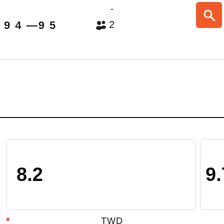-
9 4 —9 5   👥 2
8.2
9.7k
* TWD